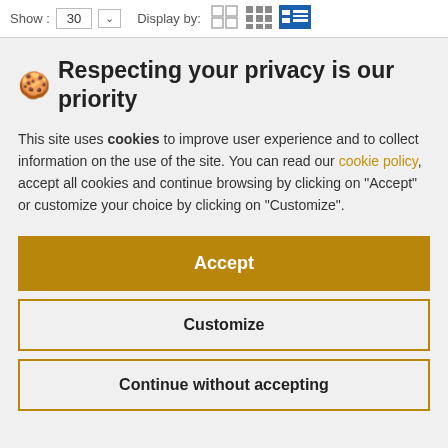Show: 30  Display by:
🍪 Respecting your privacy is our priority
This site uses cookies to improve user experience and to collect information on the use of the site. You can read our cookie policy, accept all cookies and continue browsing by clicking on "Accept" or customize your choice by clicking on "Customize".
Accept
Customize
Continue without accepting